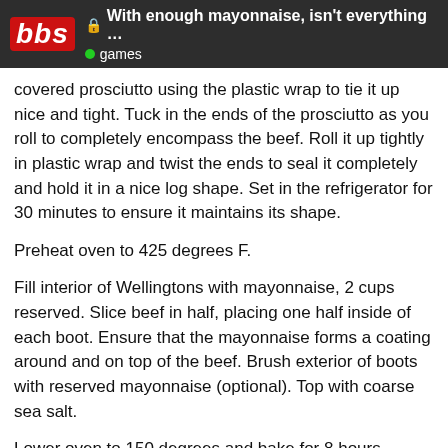bbs | With enough mayonnaise, isn't everything ... | games
covered prosciutto using the plastic wrap to tie it up nice and tight. Tuck in the ends of the prosciutto as you roll to completely encompass the beef. Roll it up tightly in plastic wrap and twist the ends to seal it completely and hold it in a nice log shape. Set in the refrigerator for 30 minutes to ensure it maintains its shape.
Preheat oven to 425 degrees F.
Fill interior of Wellingtons with mayonnaise, 2 cups reserved. Slice beef in half, placing one half inside of each boot. Ensure that the mayonnaise forms a coating around and on top of the beef. Brush exterior of boots with reserved mayonnaise (optional). Top with coarse sea salt.
Lower oven to 150 degrees and bake for 8 hours minutes at 5 atomspheres pressure until Wellingtons are smoking black and beef registers 125 degrees F on an instant-read thermometer. Remove from oven and rest before cutting. Garnish with minced chives, and serve wit...
8 / 82